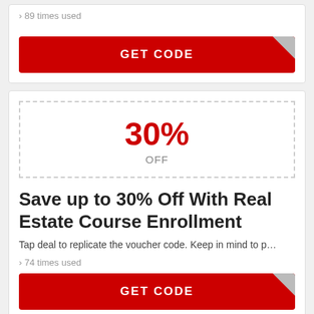› 89 times used
GET CODE
[Figure (other): Coupon box with 30% OFF in red text inside a dashed border]
Save up to 30% Off With Real Estate Course Enrollment
Tap deal to replicate the voucher code. Keep in mind to p...
› 74 times used
GET CODE